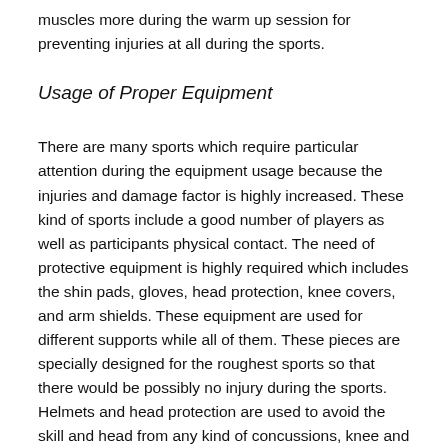muscles more during the warm up session for preventing injuries at all during the sports.
Usage of Proper Equipment
There are many sports which require particular attention during the equipment usage because the injuries and damage factor is highly increased. These kind of sports include a good number of players as well as participants physical contact. The need of protective equipment is highly required which includes the shin pads, gloves, head protection, knee covers, and arm shields. These equipment are used for different supports while all of them. These pieces are specially designed for the roughest sports so that there would be possibly no injury during the sports. Helmets and head protection are used to avoid the skill and head from any kind of concussions, knee and arm shields are used for direct contact of hard objects with the body as well as the gloves are also used for good hands protection.
Furthermore, there is a necessity for a sports player to use